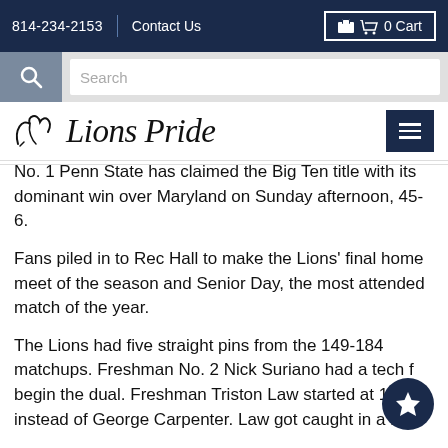814-234-2153  Contact Us  0 Cart
Search
Lions Pride
No. 1 Penn State has claimed the Big Ten title with its dominant win over Maryland on Sunday afternoon, 45-6.
Fans piled in to Rec Hall to make the Lions' final home meet of the season and Senior Day, the most attended match of the year.
The Lions had five straight pins from the 149-184 matchups. Freshman No. 2 Nick Suriano had a tech f begin the dual. Freshman Triston Law started at 133 instead of George Carpenter. Law got caught in a high